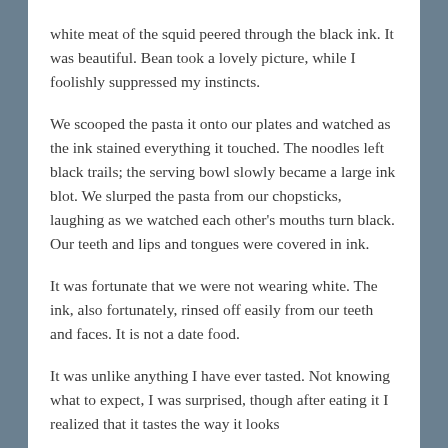white meat of the squid peered through the black ink. It was beautiful. Bean took a lovely picture, while I foolishly suppressed my instincts.
We scooped the pasta it onto our plates and watched as the ink stained everything it touched. The noodles left black trails; the serving bowl slowly became a large ink blot. We slurped the pasta from our chopsticks, laughing as we watched each other's mouths turn black. Our teeth and lips and tongues were covered in ink.
It was fortunate that we were not wearing white. The ink, also fortunately, rinsed off easily from our teeth and faces. It is not a date food.
It was unlike anything I have ever tasted. Not knowing what to expect, I was surprised, though after eating it I realized that it tastes the way it looks